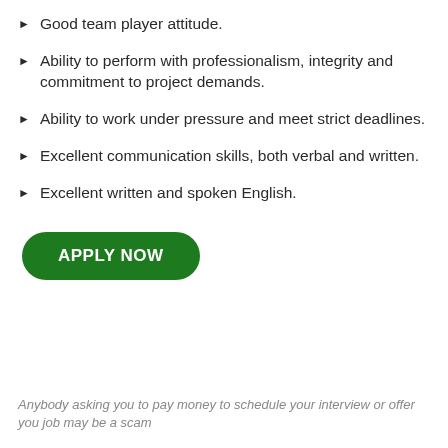Good team player attitude.
Ability to perform with professionalism, integrity and commitment to project demands.
Ability to work under pressure and meet strict deadlines.
Excellent communication skills, both verbal and written.
Excellent written and spoken English.
APPLY NOW
Anybody asking you to pay money to schedule your interview or offer you job may be a scam